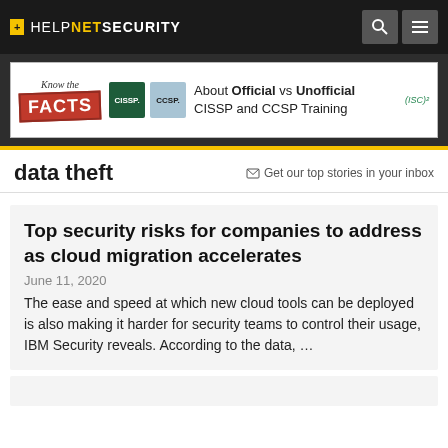+ HELPNETSECURITY
[Figure (other): Advertisement banner: Know the FACTS about Official vs Unofficial CISSP and CCSP Training, (ISC)2]
data theft
Get our top stories in your inbox
Top security risks for companies to address as cloud migration accelerates
June 11, 2020
The ease and speed at which new cloud tools can be deployed is also making it harder for security teams to control their usage, IBM Security reveals. According to the data, …